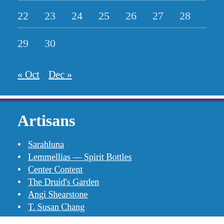| 22 | 23 | 24 | 25 | 26 | 27 | 28 |
| 29 | 30 |  |  |  |  |  |
« Oct   Dec »
Artisans
Sarahluna
Lemmellias — Spirit Bottles
Center Content
The Druid's Garden
Angi Shearstone
T. Susan Chang